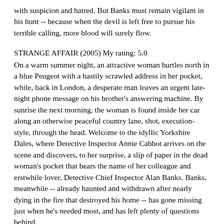with suspicion and hatred. But Banks must remain vigilant in his hunt -- because when the devil is left free to pursue his terrible calling, more blood will surely flow.
STRANGE AFFAIR (2005) My rating: 5.0
On a warm summer night, an attractive woman hurtles north in a blue Peugeot with a hastily scrawled address in her pocket, while, back in London, a desperate man leaves an urgent late-night phone message on his brother's answering machine. By sunrise the next morning, the woman is found inside her car along an otherwise peaceful country lane, shot, execution-style, through the head. Welcome to the idyllic Yorkshire Dales, where Detective Inspector Annie Cabbot arrives on the scene and discovers, to her surprise, a slip of paper in the dead woman's pocket that bears the name of her colleague and erstwhile lover, Detective Chief Inspector Alan Banks. Banks, meanwhile -- already haunted and withdrawn after nearly dying in the fire that destroyed his home -- has gone missing just when he's needed most, and has left plenty of questions behind.
PIECE OF MY HEART (2006) My rating: 4.7
An interesting structure this one: two investigations in one. In 1969